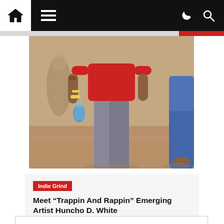Navigation bar with home, menu, dark mode, and search icons
[Figure (photo): Photo of people walking outdoors, one person in red shirt and grey jeans holding a bottle, another in blue jeans visible on the right]
Indie Grind
Meet “Trappin And Rappin” Emerging Artist Huncho D. White
HHW Staff  1 year ago  1  Share